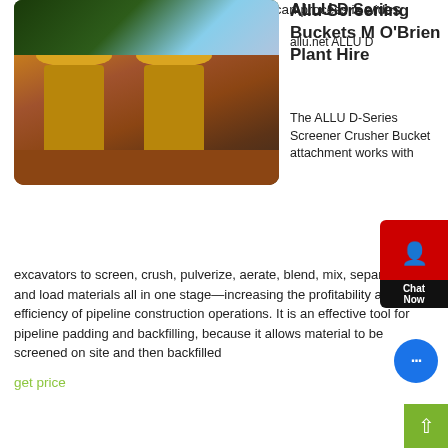the way you work. The range of materials it can process is wide, topsoil, black top and dirt
get price
[Figure (photo): Industrial mining machinery with large orange crushers/screeners on a red dirt site with blue sky background]
Allu Screening Buckets M O'Brien Plant Hire
The ALLU D-Series Screener Crusher Bucket attachment works with excavators to screen, crush, pulverize, aerate, blend, mix, separate, feed and load materials all in one stage—increasing the profitability and efficiency of pipeline construction operations. It is an effective tool for pipeline padding and backfilling, because it allows material to be screened on site and then backfilled
get price
[Figure (photo): Construction machinery near trees with blue sky, partial view]
ALLU D Series
allu.net ALLU D